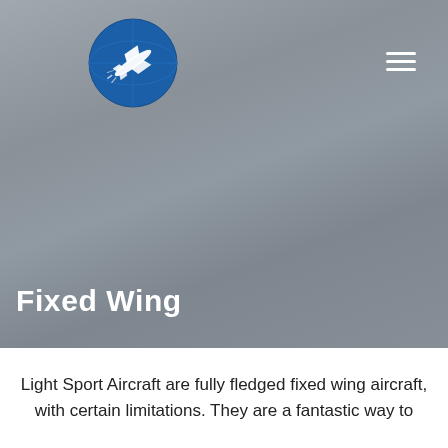[Figure (logo): Circular blue logo with white airplane silhouette and motion lines]
Fixed Wing
Light Sport Aircraft are fully fledged fixed wing aircraft, with certain limitations. They are a fantastic way to